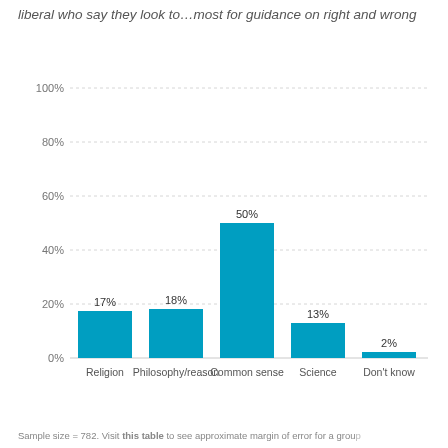liberal who say they look to…most for guidance on right and wrong
[Figure (bar-chart): liberal who say they look to…most for guidance on right and wrong]
Sample size = 782. Visit this table to see approximate margin of error for a group